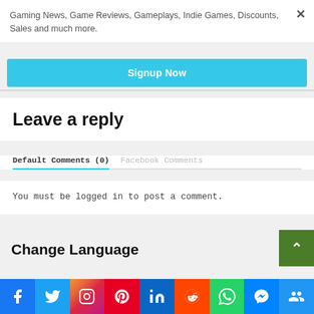Gaming News, Game Reviews, Gameplays, Indie Games, Discounts, Sales and much more.
Signup Now
Leave a reply
Default Comments (0)
Facebook Comments
You must be logged in to post a comment.
Change Language
[Figure (other): Social media share bar with Facebook, Twitter, Instagram, Pinterest, LinkedIn, Reddit, WhatsApp, Messenger, and another icon]